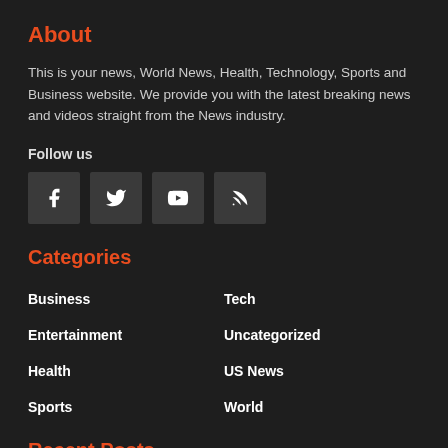About
This is your news, World News, Health, Technology, Sports and Business website. We provide you with the latest breaking news and videos straight from the News industry.
Follow us
[Figure (infographic): Four social media icon buttons: Facebook, Twitter, YouTube, RSS]
Categories
Business
Tech
Entertainment
Uncategorized
Health
US News
Sports
World
Recent Posts